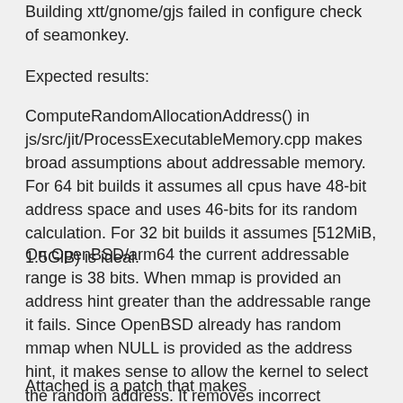Building xtt/gnome/gjs failed in configure check of seamonkey.
Expected results:
ComputeRandomAllocationAddress() in js/src/jit/ProcessExecutableMemory.cpp makes broad assumptions about addressable memory. For 64 bit builds it assumes all cpus have 48-bit address space and uses 46-bits for its random calculation. For 32 bit builds it assumes [512MiB, 1.5GiB) is ideal.
On OpenBSD/arm64 the current addressable range is 38 bits. When mmap is provided an address hint greater than the addressable range it fails. Since OpenBSD already has random mmap when NULL is provided as the address hint, it makes sense to allow the kernel to select the random address. It removes incorrect assumptions about the addressable memory range and it allows the kernel to select a random address while attempting to reduce memory fragmentation.
Attached is a patch that makes ComputeRandomAllocationAddress() not be called...